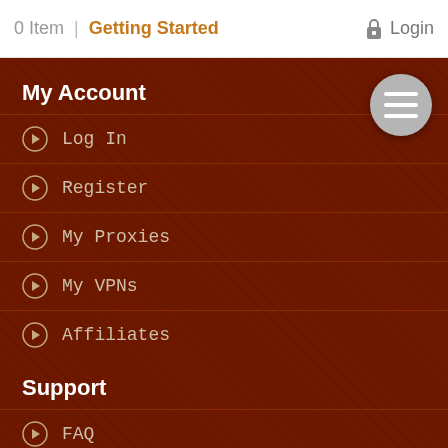0 Item | Getting Started    Login
My Account
Log In
Register
My Proxies
My VPNs
Affiliates
Support
FAQ
Pre Sale Department
Abuse Department